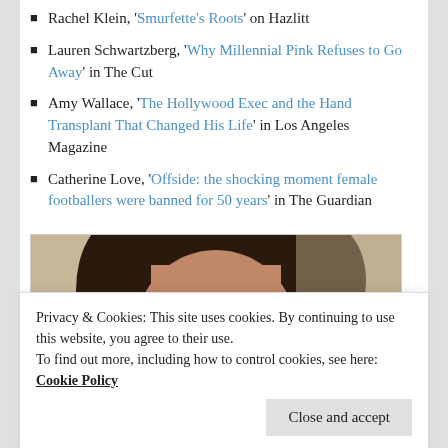Rachel Klein, 'Smurfette's Roots' on Hazlitt
Lauren Schwartzberg, 'Why Millennial Pink Refuses to Go Away' in The Cut
Amy Wallace, 'The Hollywood Exec and the Hand Transplant That Changed His Life' in Los Angeles Magazine
Catherine Love, 'Offside: the shocking moment female footballers were banned for 50 years' in The Guardian
[Figure (photo): Close-up portrait photo of a woman with dark curly hair against a light background]
Privacy & Cookies: This site uses cookies. By continuing to use this website, you agree to their use.
To find out more, including how to control cookies, see here: Cookie Policy